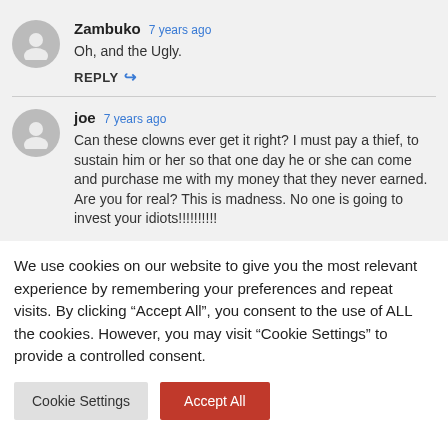Zambuko  7 years ago
Oh, and the Ugly.
REPLY
joe  7 years ago
Can these clowns ever get it right? I must pay a thief, to sustain him or her so that one day he or she can come and purchase me with my money that they never earned. Are you for real? This is madness. No one is going to invest your idiots!!!!!!!!!!
We use cookies on our website to give you the most relevant experience by remembering your preferences and repeat visits. By clicking “Accept All”, you consent to the use of ALL the cookies. However, you may visit "Cookie Settings" to provide a controlled consent.